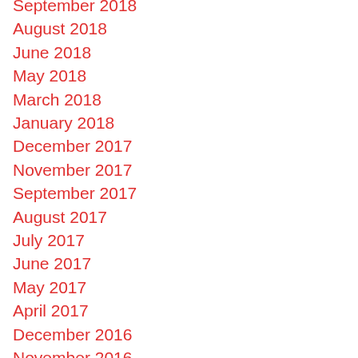September 2018
August 2018
June 2018
May 2018
March 2018
January 2018
December 2017
November 2017
September 2017
August 2017
July 2017
June 2017
May 2017
April 2017
December 2016
November 2016
February 2015
September 2014
May 2014